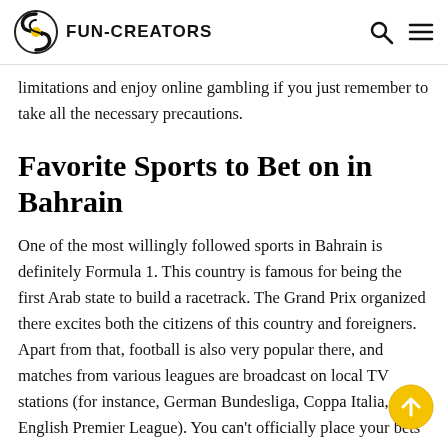FUN-CREATORS
limitations and enjoy online gambling if you just remember to take all the necessary precautions.
Favorite Sports to Bet on in Bahrain
One of the most willingly followed sports in Bahrain is definitely Formula 1. This country is famous for being the first Arab state to build a racetrack. The Grand Prix organized there excites both the citizens of this country and foreigners. Apart from that, football is also very popular there, and matches from various leagues are broadcast on local TV stations (for instance, German Bundesliga, Coppa Italia, or English Premier League). You can't officially place your bets